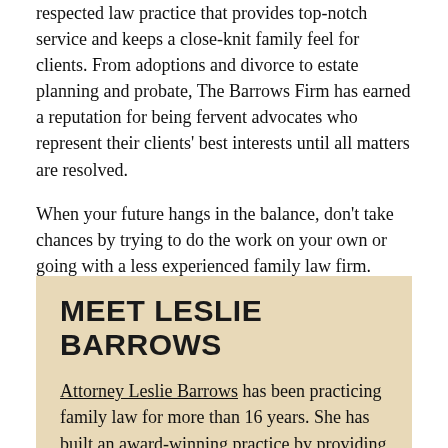respected law practice that provides top-notch service and keeps a close-knit family feel for clients. From adoptions and divorce to estate planning and probate, The Barrows Firm has earned a reputation for being fervent advocates who represent their clients' best interests until all matters are resolved.
When your future hangs in the balance, don't take chances by trying to do the work on your own or going with a less experienced family law firm. Contact us to schedule a consultation.
MEET LESLIE BARROWS
Attorney Leslie Barrows has been practicing family law for more than 16 years. She has built an award-winning practice by providing excellent legal counsel, successfully resolving issues, and treating clients like family. Leslie is a